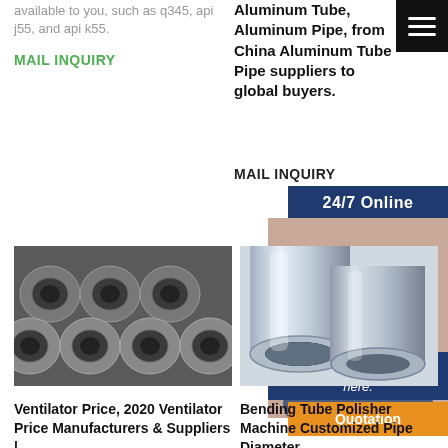available to you, such as q345, api j55, and api k55.
MAIL INQUIRY
Aluminum Tube, Aluminum Pipe, from China Aluminum Tube Pipe suppliers to global buyers.
MAIL INQUIRY
[Figure (infographic): Hamburger/menu icon - three white horizontal lines on black background]
[Figure (infographic): 24/7 Online banner in dark navy blue]
[Figure (photo): Customer service representative woman smiling with headset]
[Figure (infographic): Have any requests, click here. text box in navy blue]
[Figure (infographic): Quotation button in orange]
[Figure (photo): Bundle of steel pipes viewed from the end showing circular cross-sections]
Ventilator Price, 2020 Ventilator Price Manufacturers & Suppliers |
[Figure (photo): Two polished chrome/steel tubes leaning against each other]
Bending Tube Polisher Machine Customized Pipe Diameter